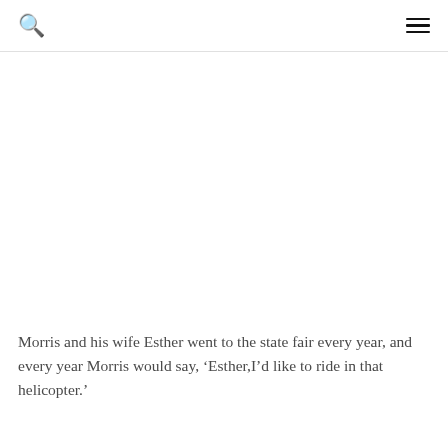Morris and his wife Esther went to the state fair every year, and every year Morris would say, ‘Esther,I’d like to ride in that helicopter.’